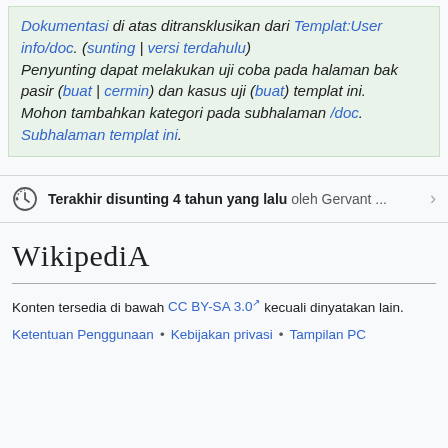Dokumentasi di atas ditransklusikan dari Templat:User info/doc. (sunting | versi terdahulu) Penyunting dapat melakukan uji coba pada halaman bak pasir (buat | cermin) dan kasus uji (buat) templat ini. Mohon tambahkan kategori pada subhalaman /doc. Subhalaman templat ini.
Terakhir disunting 4 tahun yang lalu oleh Gervant ...
Wikipedia
Konten tersedia di bawah CC BY-SA 3.0 kecuali dinyatakan lain.
Ketentuan Penggunaan • Kebijakan privasi • Tampilan PC